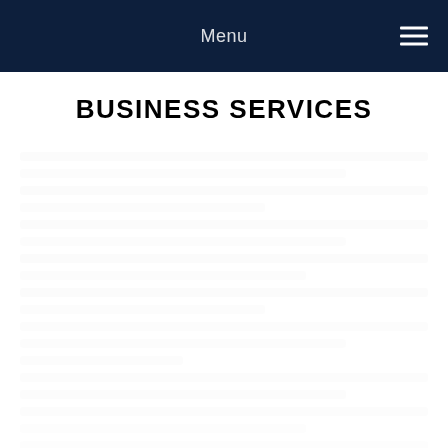Menu
BUSINESS SERVICES
[Body content — placeholder lines representing partially visible/blurred text content below the title]